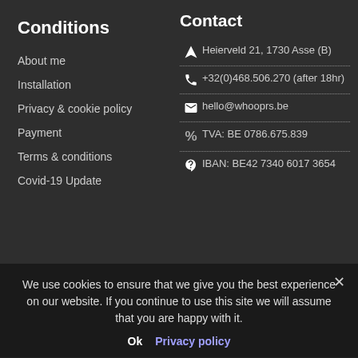Conditions
About me
Installation
Privacy & cookie policy
Payment
Terms & conditions
Covid-19 Update
Contact
Heierveld 21, 1730 Asse (B)
+32(0)468.506.270 (after 18hr)
hello@whooprs.be
TVA: BE 0786.675.839
IBAN: BE42 7340 6017 3654
Opening hours
Always by appointment
Mo-Fr: 8-9h / 12-13h / 18-21h
Sa-Su: 12-13h / 18-21h
We use cookies to ensure that we give you the best experience on our website. If you continue to use this site we will assume that you are happy with it.
Ok  Privacy policy